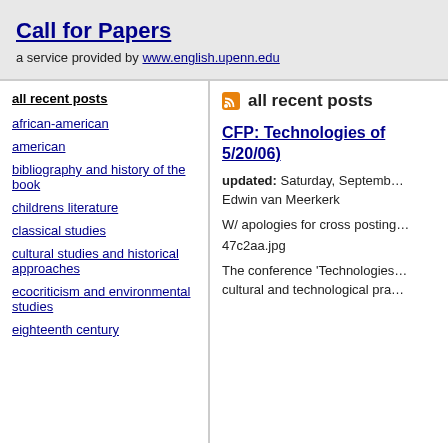Call for Papers
a service provided by www.english.upenn.edu
all recent posts
african-american
american
bibliography and history of the book
childrens literature
classical studies
cultural studies and historical approaches
ecocriticism and environmental studies
eighteenth century
all recent posts
CFP: Technologies of 5/20/06)
updated: Saturday, September
Edwin van Meerkerk
W/ apologies for cross posting
47c2aa.jpg
The conference 'Technologies
cultural and technological pra